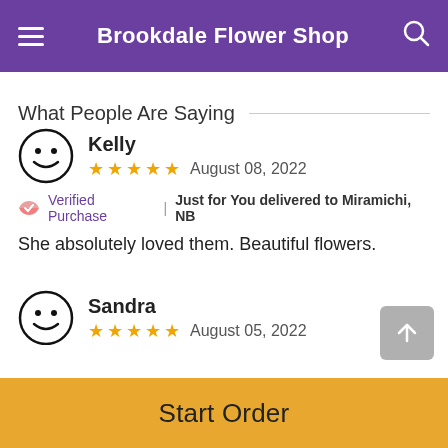Brookdale Flower Shop
What People Are Saying
Kelly
★★★★★  August 08, 2022
Verified Purchase | Just for You delivered to Miramichi, NB
She absolutely loved them. Beautiful flowers.
Sandra
★★★★★  August 05, 2022
Verified Purchase | Florist's Choice for Birthday delivered to Miramichi
Start Order